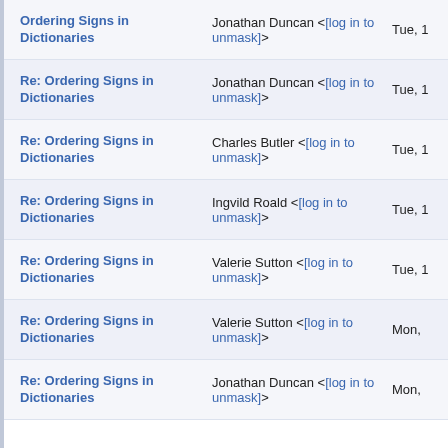| Subject | From | Date |
| --- | --- | --- |
| Ordering Signs in Dictionaries | Jonathan Duncan <[log in to unmask]> | Tue, 1 |
| Re: Ordering Signs in Dictionaries | Jonathan Duncan <[log in to unmask]> | Tue, 1 |
| Re: Ordering Signs in Dictionaries | Charles Butler <[log in to unmask]> | Tue, 1 |
| Re: Ordering Signs in Dictionaries | Ingvild Roald <[log in to unmask]> | Tue, 1 |
| Re: Ordering Signs in Dictionaries | Valerie Sutton <[log in to unmask]> | Tue, 1 |
| Re: Ordering Signs in Dictionaries | Valerie Sutton <[log in to unmask]> | Mon, |
| Re: Ordering Signs in Dictionaries | Jonathan Duncan <[log in to unmask]> | Mon, |